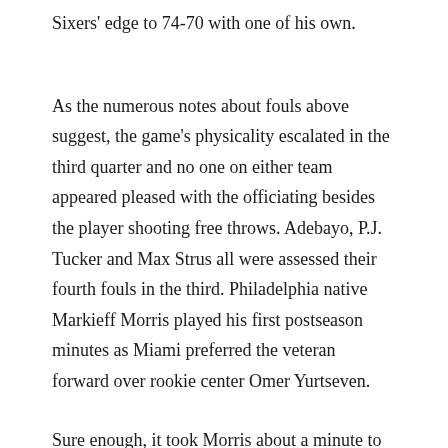Sixers' edge to 74-70 with one of his own.
As the numerous notes about fouls above suggest, the game's physicality escalated in the third quarter and no one on either team appeared pleased with the officiating besides the player shooting free throws. Adebayo, P.J. Tucker and Max Strus all were assessed their fourth fouls in the third. Philadelphia native Markieff Morris played his first postseason minutes as Miami preferred the veteran forward over rookie center Omer Yurtseven.
Sure enough, it took Morris about a minute to foul Embiid. And Embiid later emphatically denied an ambitious Morris fadeaway jumper.
The Sixers evaporated any uneasiness about Embiid's time on the sidelines to begin the fourth, stringing together stops and